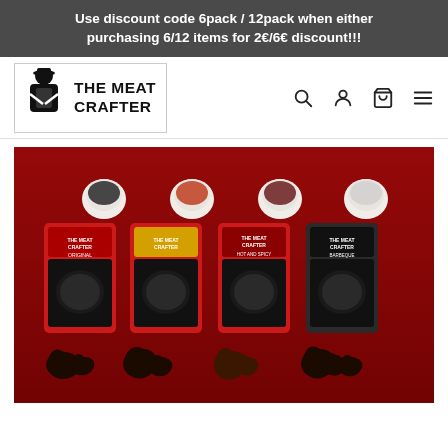Use discount code 6pack / 12pack when either purchasing 6/12 items for 2€/6€ discount!!!
[Figure (logo): The Meat Crafter logo: illustration of a man in apron with arms crossed, beside bold text reading THE MEAT CRAFTER]
[Figure (photo): Four red packages of The Meat Crafter beef jerky (Original, another flavor, Hot and Spicy, Barbeque) displayed on a red background with small white bowls of spices above each and pieces of jerky below.]